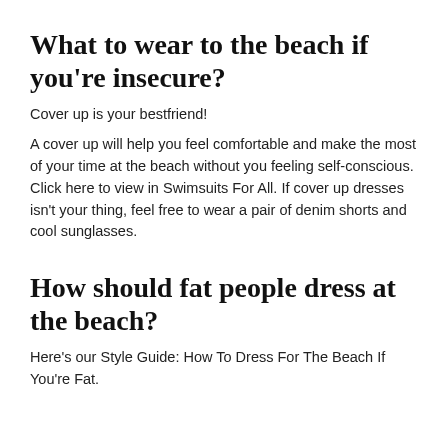What to wear to the beach if you're insecure?
Cover up is your bestfriend!
A cover up will help you feel comfortable and make the most of your time at the beach without you feeling self-conscious. Click here to view in Swimsuits For All. If cover up dresses isn't your thing, feel free to wear a pair of denim shorts and cool sunglasses.
How should fat people dress at the beach?
Here's our Style Guide: How To Dress For The Beach If You're Fat.